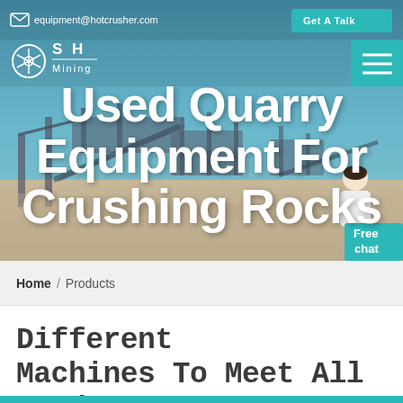equipment@hotcrusher.com  |  Get A Talk
[Figure (photo): Hero banner showing quarry/industrial crushing equipment facility with blue sky background. Overlaid with large white bold text reading 'Used Quarry Equipment For Crushing Rocks'. Top bar shows email address and Get A Talk button. Logo area shows SHP Mining with circular emblem. Hamburger menu icon top right. Free chat widget bottom right with person figure.]
Home / Products
Different Machines To Meet All Need